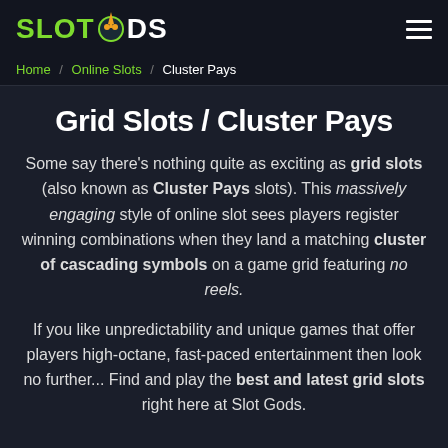SLOTGODS
Home / Online Slots / Cluster Pays
Grid Slots / Cluster Pays
Some say there's nothing quite as exciting as grid slots (also known as Cluster Pays slots). This massively engaging style of online slot sees players register winning combinations when they land a matching cluster of cascading symbols on a game grid featuring no reels.
If you like unpredictability and unique games that offer players high-octane, fast-paced entertainment then look no further... Find and play the best and latest grid slots right here at Slot Gods.